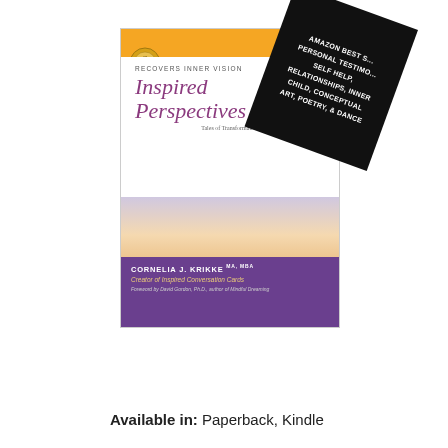[Figure (illustration): Book cover of 'Inspired Perspectives: Tales of Transformation' by Cornelia J. Krikke MA MBA, Creator of Inspired Conversation Cards. Cover features orange bar at top, purple title text, landscape painting, and purple footer. An Amazon #1 bestseller medal is on the cover. A black rotated banner reads: AMAZON BEST [SELLER], PERSONAL TESTIMONY, SELF HELP, RELATIONSHIPS, INNER CHILD, CONCEPTUAL ART, POETRY, & DANCE.]
Available in: Paperback, Kindle